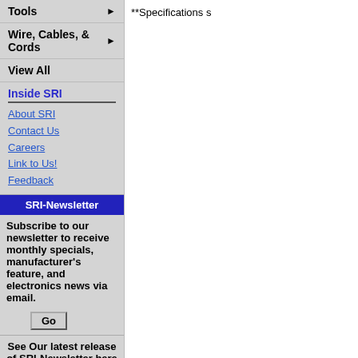Tools ▶
Wire, Cables, & Cords ▶
View All
Inside SRI
About SRI
Contact Us
Careers
Link to Us!
Feedback
SRI-Newsletter
Subscribe to our newsletter to receive monthly specials, manufacturer's feature, and electronics news via email.
Go
See Our latest release of SRI-Newsletter here
Go
View Our List of Archived Newsletter Articles
**Specifications s